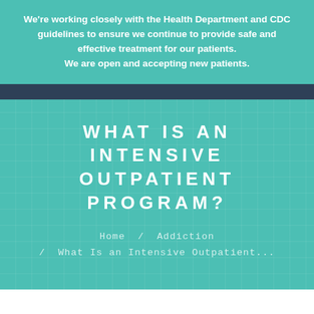We're working closely with the Health Department and CDC guidelines to ensure we continue to provide safe and effective treatment for our patients. We are open and accepting new patients.
WHAT IS AN INTENSIVE OUTPATIENT PROGRAM?
Home / Addiction / What Is an Intensive Outpatient...